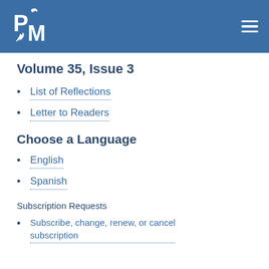PM logo and navigation hamburger menu
Volume 35, Issue 3
List of Reflections
Letter to Readers
Choose a Language
English
Spanish
Subscription Requests
Subscribe, change, renew, or cancel subscription